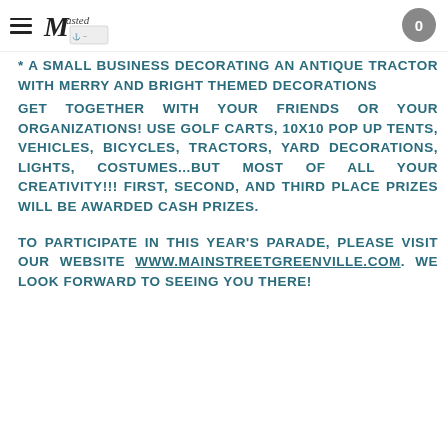Masted [logo] 0
* A SMALL BUSINESS DECORATING AN ANTIQUE TRACTOR WITH MERRY AND BRIGHT THEMED DECORATIONS
GET TOGETHER WITH YOUR FRIENDS OR YOUR ORGANIZATIONS! USE GOLF CARTS, 10X10 POP UP TENTS, VEHICLES, BICYCLES, TRACTORS, YARD DECORATIONS, LIGHTS, COSTUMES...BUT MOST OF ALL YOUR CREATIVITY!!! FIRST, SECOND, AND THIRD PLACE PRIZES WILL BE AWARDED CASH PRIZES.
TO PARTICIPATE IN THIS YEAR'S PARADE, PLEASE VISIT OUR WEBSITE WWW.MAINSTREETGREENVILLE.COM. WE LOOK FORWARD TO SEEING YOU THERE!